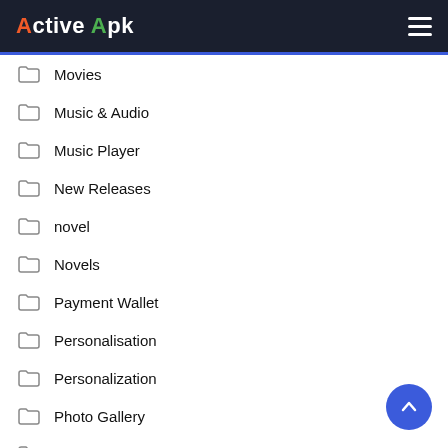Active Apk
Movies
Music & Audio
Music Player
New Releases
novel
Novels
Payment Wallet
Personalisation
Personalization
Photo Gallery
Photography